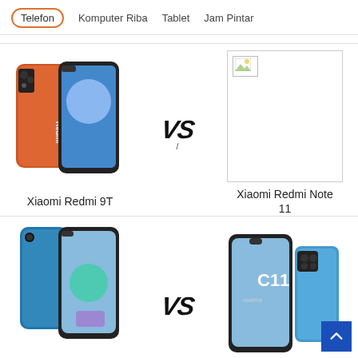Telefon | Komputer Riba | Tablet | Jam Pintar
[Figure (photo): Xiaomi Redmi 9T smartphone in orange color shown from front and back, compared vs a placeholder image for Xiaomi Redmi Note 11]
Xiaomi Redmi 9T
Xiaomi Redmi Note 11
[Figure (photo): Samsung Galaxy M02 in blue color vs realme C11 (2021) in blue color]
Samsung Galaxy M02
realme C11 (2021)
[Figure (photo): Partial view of two more smartphones at the bottom of the page]